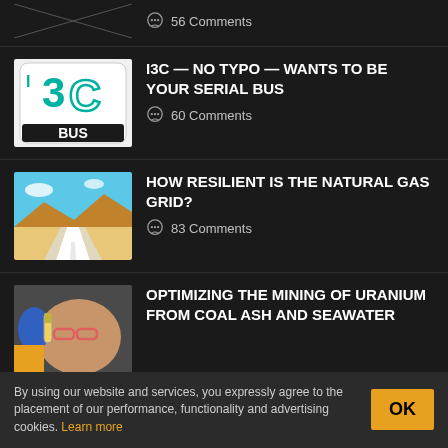56 Comments
[Figure (illustration): I3C BUS logo — white square with teal 3C text and I3C BUS label]
I3C — NO TYPO — WANTS TO BE YOUR SERIAL BUS
60 Comments
[Figure (illustration): Illustrated road disappearing into desert horizon]
HOW RESILIENT IS THE NATURAL GAS GRID?
83 Comments
[Figure (photo): Person in lab coat and safety glasses holding test tube]
OPTIMIZING THE MINING OF URANIUM FROM COAL ASH AND SEAWATER
By using our website and services, you expressly agree to the placement of our performance, functionality and advertising cookies. Learn more